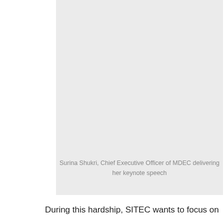[Figure (photo): Photo of Surina Shukri, Chief Executive Officer of MDEC, delivering her keynote speech — shown as a light gray placeholder box.]
Surina Shukri, Chief Executive Officer of MDEC delivering her keynote speech
During this hardship, SITEC wants to focus on